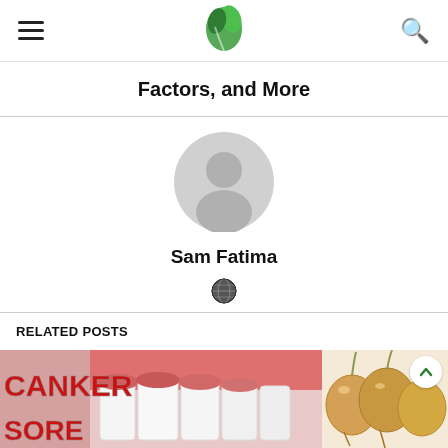Navigation header with hamburger menu, green leaf logo, and search icon
Factors, and More
[Figure (illustration): Gray default user avatar circle icon]
Sam Fatima
[Figure (illustration): Globe/world icon]
RELATED POSTS
[Figure (photo): Left related post image showing text CANKER SORE with a photo of teeth and gums]
[Figure (photo): Right related post image showing onions on white background]